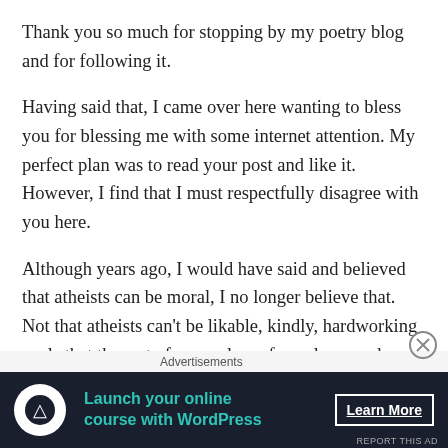Thank you so much for stopping by my poetry blog and for following it.
Having said that, I came over here wanting to bless you for blessing me with some internet attention. My perfect plan was to read your post and like it. However, I find that I must respectfully disagree with you here.
Although years ago, I would have said and believed that atheists can be moral, I no longer believe that. Not that atheists can't be likable, kindly, hardworking souls that the rest of us can learn from, love, and enjoy because of course they can. My problem is with the idea that an atheist living such a life can be labeled “moral” in the eternal sense. If being moral, ultimately, equates to
[Figure (other): Advertisement banner with dark navy background. Shows a circular white icon with a person/tree logo, teal text reading 'Launch your online course with WordPress', and a white 'Learn More' button with underline. Above the banner is an 'Advertisements' label. A close (X) button appears to the right above the banner.]